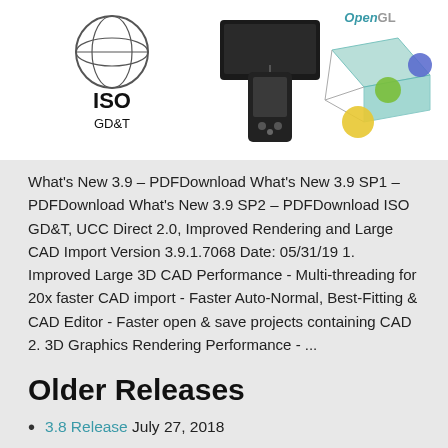[Figure (illustration): Three product/technology images side by side: ISO GD&T logo with globe icon on left, a hardware device (black box with handheld unit) in center, and an OpenGL 3D rendering graphic on the right.]
What's New 3.9 – PDFDownload What's New 3.9 SP1 – PDFDownload What's New 3.9 SP2 – PDFDownload ISO GD&T, UCC Direct 2.0, Improved Rendering and Large CAD Import Version 3.9.1.7068 Date: 05/31/19 1. Improved Large 3D CAD Performance - Multi-threading for 20x faster CAD import - Faster Auto-Normal, Best-Fitting & CAD Editor - Faster open & save projects containing CAD 2. 3D Graphics Rendering Performance - ...
Older Releases
3.8 Release July 27, 2018
3.7 Release October 18, 2017